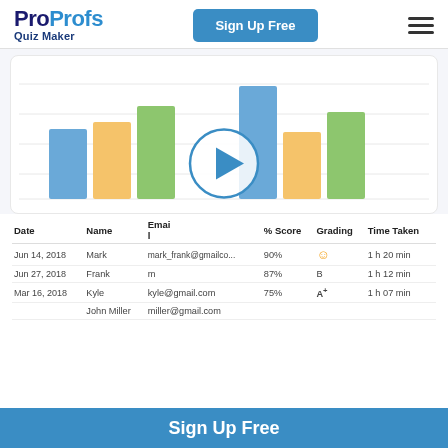ProProfs Quiz Maker — Sign Up Free
[Figure (grouped-bar-chart): Quiz Results Bar Chart]
| Date | Name | Email | % Score | Grading | Time Taken |
| --- | --- | --- | --- | --- | --- |
| Jun 14, 2018 | Mark | mark_frank@gmailco... | 90% | ⭐ | 1 h 20 min |
| Jun 27, 2018 | Frank | m | 87% | B | 1 h 12 min |
| Mar 16, 2018 | Kyle | kyle@gmail.com | 75% | A+ | 1 h 07 min |
|  | John Miller | miller@gmail.com |  |  |  |
Sign Up Free